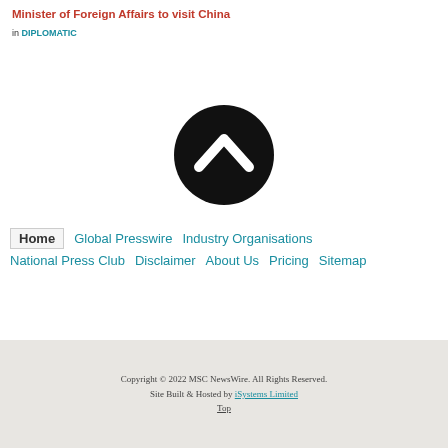Minister of Foreign Affairs to visit China
in DIPLOMATIC
[Figure (illustration): Black circular button with white upward-pointing chevron arrow icon (scroll-to-top button)]
Home   Global Presswire   Industry Organisations   National Press Club   Disclaimer   About Us   Pricing   Sitemap
Copyright © 2022 MSC NewsWire. All Rights Reserved. Site Built & Hosted by iSystems Limited Top